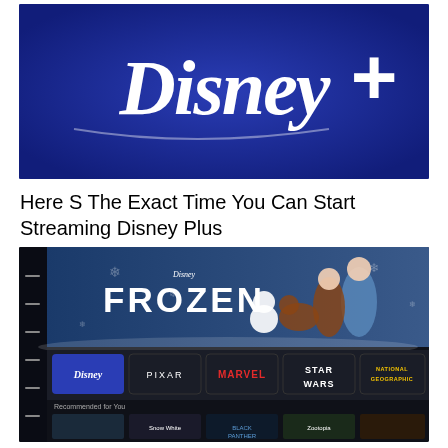[Figure (photo): Disney+ logo on a dark blue background with white script text reading 'Disney+' in large letters]
Here S The Exact Time You Can Start Streaming Disney Plus
[Figure (screenshot): Screenshot of Disney+ app interface showing Frozen banner at the top with characters Elsa, Anna, Olaf and Sven. Below are brand tiles for Disney, Pixar, Marvel, Star Wars, and National Geographic. At the bottom are recommended movie thumbnails.]